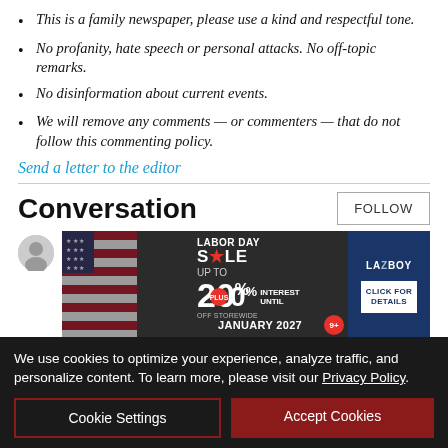This is a family newspaper, please use a kind and respectful tone.
No profanity, hate speech or personal attacks. No off-topic remarks.
No disinformation about current events.
We will remove any comments — or commenters — that do not follow this commenting policy.
Send a letter to the editor
Conversation
[Figure (screenshot): La-Z-Boy Labor Day Sale advertisement: UP TO 20% OFF STOREWIDE PLUS 0% INTEREST UNTIL JANUARY 2027, with American flag background and blue panel with CLICK FOR DETAILS button]
We use cookies to optimize your experience, analyze traffic, and personalize content. To learn more, please visit our Privacy Policy.
Cookie Settings
Accept Cookies